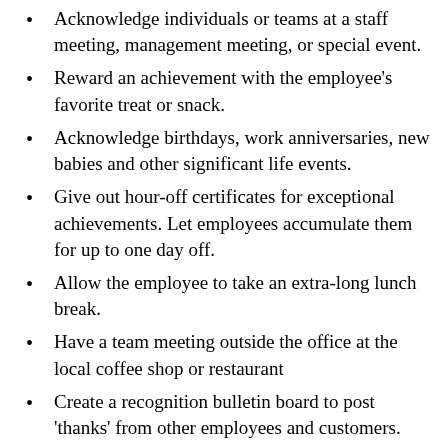Acknowledge individuals or teams at a staff meeting, management meeting, or special event.
Reward an achievement with the employee's favorite treat or snack.
Acknowledge birthdays, work anniversaries, new babies and other significant life events.
Give out hour-off certificates for exceptional achievements. Let employees accumulate them for up to one day off.
Allow the employee to take an extra-long lunch break.
Have a team meeting outside the office at the local coffee shop or restaurant
Create a recognition bulletin board to post 'thanks' from other employees and customers.
Give an employee a day off for a job well done.
Acknowledge…